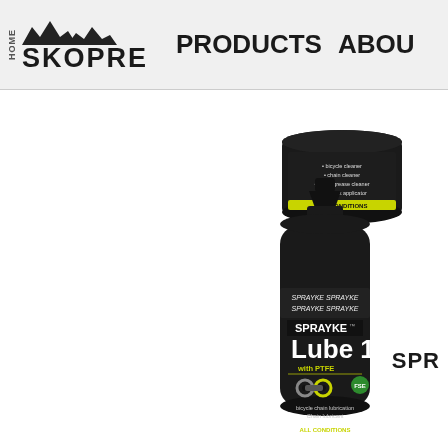HOME | SKOPRE | PRODUCTS | ABOUT
[Figure (photo): Partially visible dark jar product with yellow label at bottom, SPRAYKE brand]
[Figure (photo): SPRAYKE Lube 1 with PTFE bicycle chain lubricant bottle, black with green and yellow label graphics, dropper tip]
SPR